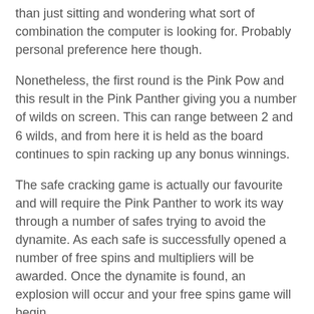than just sitting and wondering what sort of combination the computer is looking for. Probably personal preference here though.
Nonetheless, the first round is the Pink Pow and this result in the Pink Panther giving you a number of wilds on screen. This can range between 2 and 6 wilds, and from here it is held as the board continues to spin racking up any bonus winnings.
The safe cracking game is actually our favourite and will require the Pink Panther to work its way through a number of safes trying to avoid the dynamite. As each safe is successfully opened a number of free spins and multipliers will be awarded. Once the dynamite is found, an explosion will occur and your free spins game will begin.
The third game includes the Pink Panther painting a fence and in that time a range of numbers starts to rack up. At the end you can times this number by your bet amount for your bonus.
Interestingly you can also decline this amount up to a maximum of